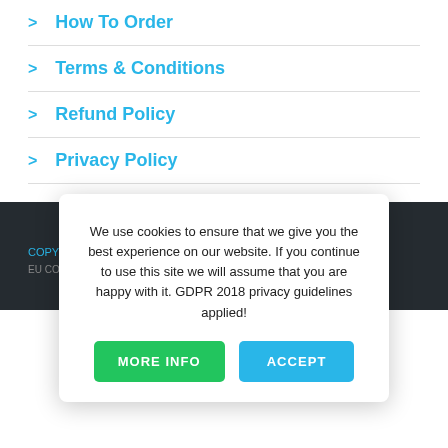> How To Order
> Terms & Conditions
> Refund Policy
> Privacy Policy
COPY
EU CO ... 1859
We use cookies to ensure that we give you the best experience on our website. If you continue to use this site we will assume that you are happy with it. GDPR 2018 privacy guidelines applied!
MORE INFO
ACCEPT